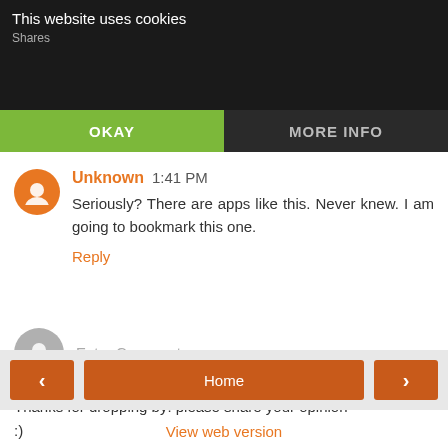This website uses cookies
Shares
OKAY
MORE INFO
Unknown 1:41 PM
Seriously? There are apps like this. Never knew. I am going to bookmark this one.
Reply
Enter Comment
Thanks for dropping by! please share your opinion
:)
Home
View web version